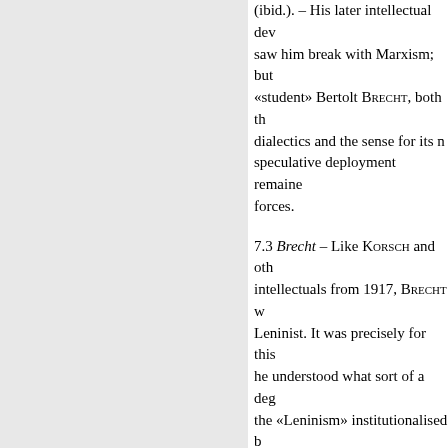(ibid.). – His later intellectual development saw him break with Marxism; but «student» Bertolt BRECHT, both the dialectics and the sense for its non-speculative deployment remained in force forces.
7.3 Brecht – Like KORSCH and other intellectuals from 1917, BRECHT was Leninist. It was precisely for this he understood what sort of a degree the «Leninism» institutionalised by represented. In 1926 / 27 Brecht enormously characteristic episode: Lenin had died, someone tried to put together his immortal sayings and But there weren't any. All that was were slips of paper with practical instructions scribbled on them»; consequently, the slips of paper were examined, to see if «changes of historical significance» could be them (GA 21, 179). In a letter to